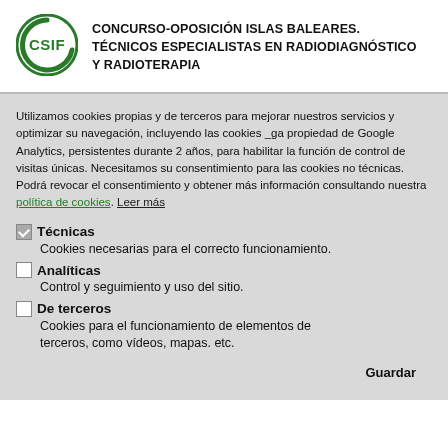CONCURSO-OPOSICIÓN ISLAS BALEARES. TÉCNICOS ESPECIALISTAS EN RADIODIAGNÓSTICO Y RADIOTERAPIA
Utilizamos cookies propias y de terceros para mejorar nuestros servicios y optimizar su navegación, incluyendo las cookies _ga propiedad de Google Analytics, persistentes durante 2 años, para habilitar la función de control de visitas únicas. Necesitamos su consentimiento para las cookies no técnicas. Podrá revocar el consentimiento y obtener más información consultando nuestra política de cookies. Leer más
Técnicas — Cookies necesarias para el correcto funcionamiento.
Analíticas — Control y seguimiento y uso del sitio.
De terceros — Cookies para el funcionamiento de elementos de terceros, como vídeos, mapas. etc.
Guardar